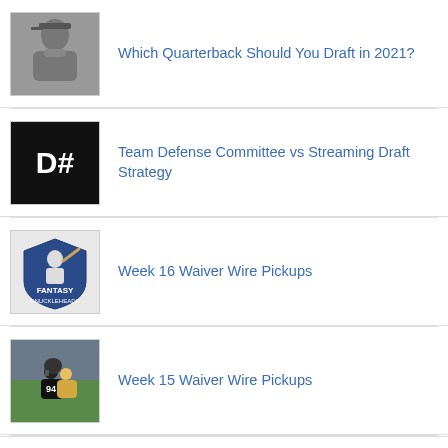[Figure (photo): Thumbnail image of a person wearing a cap (quarterback article image)]
Which Quarterback Should You Draft in 2021?
[Figure (logo): Black square logo with 'D#' text in white - Team Defense Committee logo]
Team Defense Committee vs Streaming Draft Strategy
[Figure (logo): Fantasy Knuckleheads logo - baseball player mascot on shield]
Week 16 Waiver Wire Pickups
[Figure (photo): Football players in action during a game]
Week 15 Waiver Wire Pickups
[Figure (photo): Partial view of images at bottom of page - appears to show logos or hats]